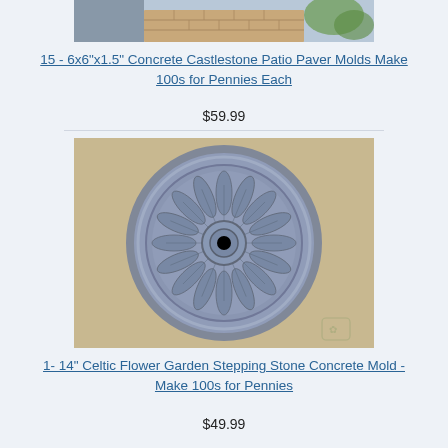[Figure (photo): Top portion of a product photo showing patio pavers with brick pattern and greenery visible]
15 - 6x6"x1.5" Concrete Castlestone Patio Paver Molds Make 100s for Pennies Each
$59.99
[Figure (photo): A round circular Celtic flower garden stepping stone concrete mold with ornate petal/leaf pattern, shown in blue-grey color on a tan background]
1- 14" Celtic Flower Garden Stepping Stone Concrete Mold - Make 100s for Pennies
$49.99